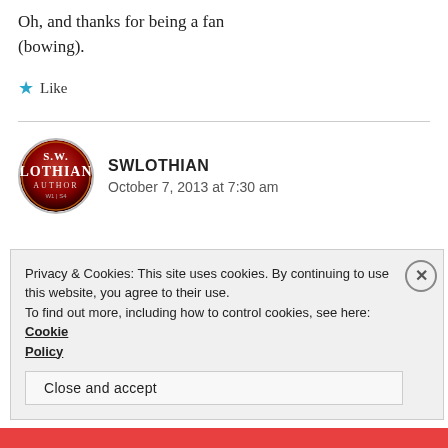Oh, and thanks for being a fan (bowing).
★ Like
[Figure (logo): S.W. Lothian Author circular logo badge with red/dark background]
SWLOTHIAN
October 7, 2013 at 7:30 am
Privacy & Cookies: This site uses cookies. By continuing to use this website, you agree to their use.
To find out more, including how to control cookies, see here: Cookie Policy
Close and accept